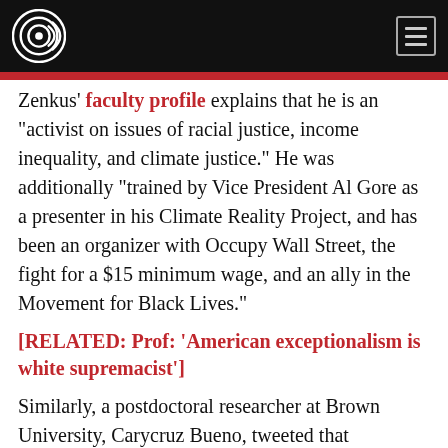[Navigation bar with logo and menu button]
Zenkus' faculty profile explains that he is an “activist on issues of racial justice, income inequality, and climate justice.” He was additionally “trained by Vice President Al Gore as a presenter in his Climate Reality Project, and has been an organizer with Occupy Wall Street, the fight for a $15 minimum wage, and an ally in the Movement for Black Lives.”
[RELATED: Prof: ‘American exceptionalism is white supremacist’]
Similarly, a postdoctoral researcher at Brown University, Carycruz Bueno, tweeted that